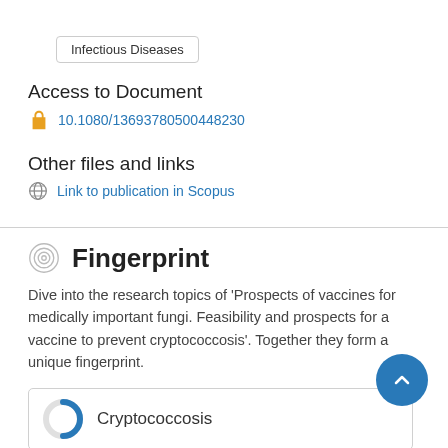Infectious Diseases
Access to Document
10.1080/13693780500448230
Other files and links
Link to publication in Scopus
Fingerprint
Dive into the research topics of 'Prospects of vaccines for medically important fungi. Feasibility and prospects for a vaccine to prevent cryptococcosis'. Together they form a unique fingerprint.
Cryptococcosis